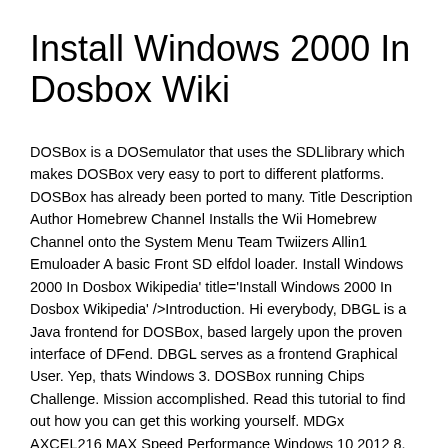Install Windows 2000 In Dosbox Wiki
DOSBox is a DOSemulator that uses the SDLlibrary which makes DOSBox very easy to port to different platforms. DOSBox has already been ported to many. Title Description Author Homebrew Channel Installs the Wii Homebrew Channel onto the System Menu Team Twiizers Allin1 Emuloader A basic Front SD elfdol loader. Install Windows 2000 In Dosbox Wikipedia' title='Install Windows 2000 In Dosbox Wikipedia' />Introduction. Hi everybody, DBGL is a Java frontend for DOSBox, based largely upon the proven interface of DFend. DBGL serves as a frontend Graphical User. Yep, thats Windows 3. DOSBox running Chips Challenge. Mission accomplished. Read this tutorial to find out how you can get this working yourself. MDGx AXCEL216 MAX Speed Performance Windows 10 2012 8. Vista 2003 XP SP1 SP2 SP3 ME 2000 98 SE OSR2 OSR1 95 NT4 NT 3. DOS 6 Tricks Secrets Tips. Chapter 1